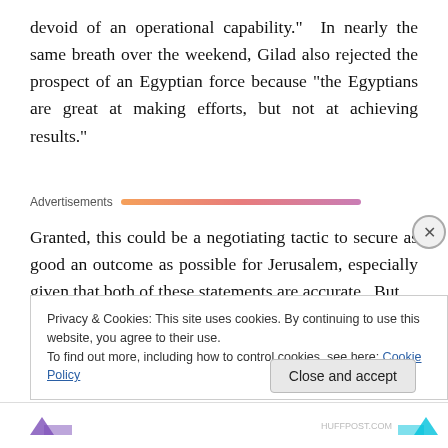devoid of an operational capability.”  In nearly the same breath over the weekend, Gilad also rejected the prospect of an Egyptian force because “the Egyptians are great at making efforts, but not at achieving results.”
Advertisements
Granted, this could be a negotiating tactic to secure as good an outcome as possible for Jerusalem, especially given that both of these statements are accurate.  But
Privacy & Cookies: This site uses cookies. By continuing to use this website, you agree to their use.
To find out more, including how to control cookies, see here: Cookie Policy
Close and accept